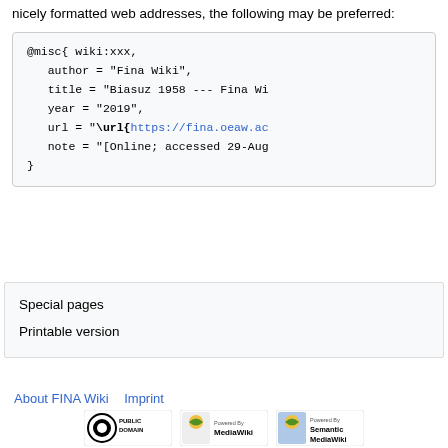nicely formatted web addresses, the following may be preferred:
@misc{ wiki:xxx,
   author = "Fina Wiki",
   title = "Biasuz 1958 --- Fina Wi
   year = "2019",
   url = "\url{https://fina.oeaw.ac
   note = "[Online; accessed 29-Aug
}
Special pages
Printable version
About FINA Wiki   Imprint